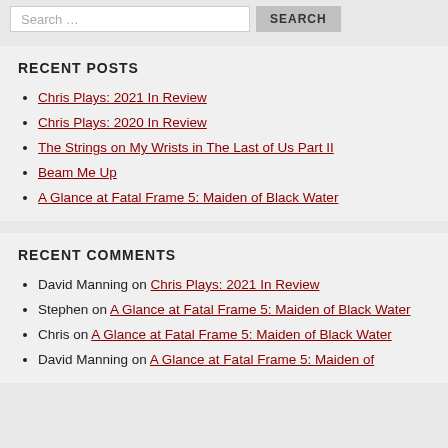Search …
RECENT POSTS
Chris Plays: 2021 In Review
Chris Plays: 2020 In Review
The Strings on My Wrists in The Last of Us Part II
Beam Me Up
A Glance at Fatal Frame 5: Maiden of Black Water
RECENT COMMENTS
David Manning on Chris Plays: 2021 In Review
Stephen on A Glance at Fatal Frame 5: Maiden of Black Water
Chris on A Glance at Fatal Frame 5: Maiden of Black Water
David Manning on A Glance at Fatal Frame 5: Maiden of